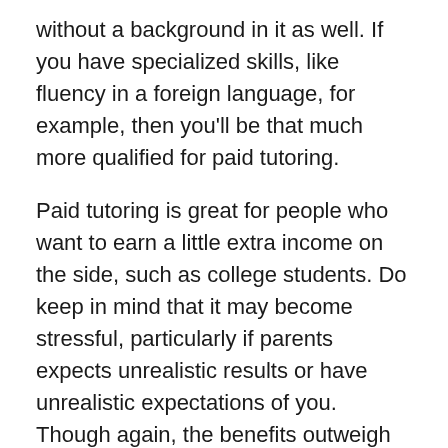without a background in it as well. If you have specialized skills, like fluency in a foreign language, for example, then you'll be that much more qualified for paid tutoring.
Paid tutoring is great for people who want to earn a little extra income on the side, such as college students. Do keep in mind that it may become stressful, particularly if parents expects unrealistic results or have unrealistic expectations of you. Though again, the benefits outweigh the negatives.
Craigslist occasionally has paid volunteering positions listed under their Education section. In addition, there are programs like AmeriCorps that offer tutoring positions with a living allowance and education award. Whatever you decide, know that you'll be making an undeniable difference in the life of a child.